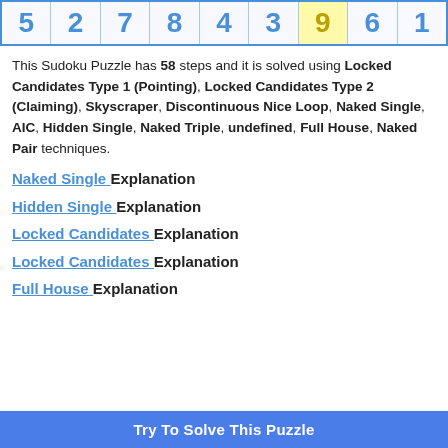[Figure (other): Sudoku puzzle row showing digits: 5, 2, 7, 8, 4, 3, 9 (highlighted in yellow), 6, 1]
This Sudoku Puzzle has 58 steps and it is solved using Locked Candidates Type 1 (Pointing), Locked Candidates Type 2 (Claiming), Skyscraper, Discontinuous Nice Loop, Naked Single, AIC, Hidden Single, Naked Triple, undefined, Full House, Naked Pair techniques.
Naked Single Explanation
Hidden Single Explanation
Locked Candidates Explanation
Locked Candidates Explanation
Full House Explanation
Try To Solve This Puzzle